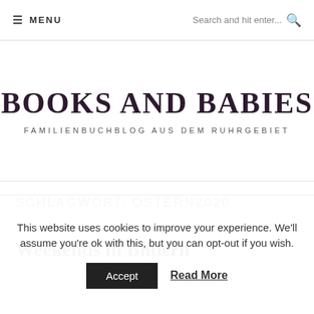≡ MENU | Search and hit enter...
BOOKS AND BABIES
FAMILIENBUCHBLOG AUS DEM RUHRGEBIET
SCHLAGWORT: OSTERN2020
Weekends in Bildern
This website uses cookies to improve your experience. We'll assume you're ok with this, but you can opt-out if you wish.
Accept | Read More